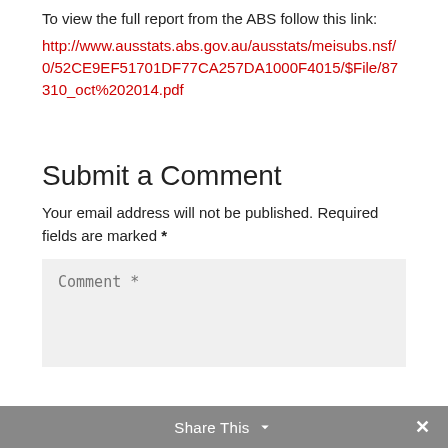To view the full report from the ABS follow this link:
http://www.ausstats.abs.gov.au/ausstats/meisubs.nsf/0/52CE9EF51701DF77CA257DA1000F4015/$File/87310_oct%202014.pdf
Submit a Comment
Your email address will not be published. Required fields are marked *
Comment *
Share This ✓  ✗